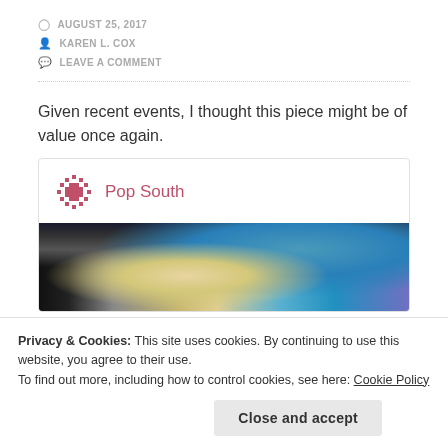AUGUST 25, 2017
KAREN L. COX
LEAVE A COMMENT
Given recent events, I thought this piece might be of value once again.
[Figure (other): Embedded card with Pop South logo and a photograph showing a person with blonde hair from behind, with colorful background including what appears to be a bus or transit interior]
Privacy & Cookies: This site uses cookies. By continuing to use this website, you agree to their use.
To find out more, including how to control cookies, see here: Cookie Policy
Close and accept